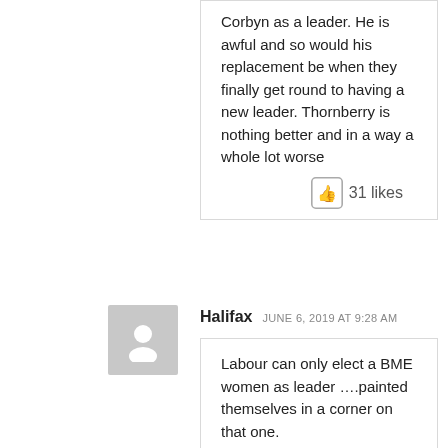Corbyn as a leader. He is awful and so would his replacement be when they finally get round to having a new leader. Thornberry is nothing better and in a way a whole lot worse
31 likes
Halifax  JUNE 6, 2019 AT 9:28 AM
Labour can only elect a BME women as leader ….painted themselves in a corner on that one.
12 likes
Scroblene  JUNE 6, 2019 AT 6:57 PM
Well it has to be our favourite MP, Diane Abbott!
An intellectual, a superb mathematician, capable of talking down every despot in the universe, correct colour, shape and 'personality', a bird who shagged an old numpty who is somehow, unbelievably 'in